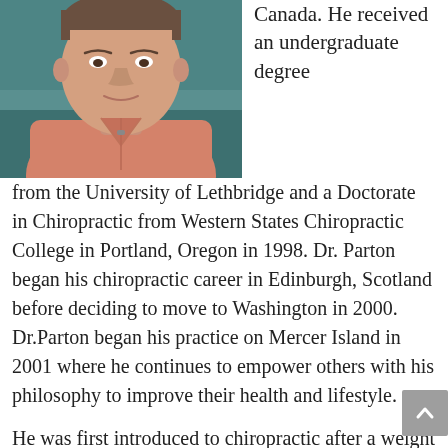[Figure (photo): Portrait photo of Dr. Parton, a man in a pink zip-up athletic shirt, seated against a teal/green background]
Canada. He received an undergraduate degree from the University of Lethbridge and a Doctorate in Chiropractic from Western States Chiropractic College in Portland, Oregon in 1998. Dr. Parton began his chiropractic career in Edinburgh, Scotland before deciding to move to Washington in 2000. Dr.Parton began his practice on Mercer Island in 2001 where he continues to empower others with his philosophy to improve their health and lifestyle.
He was first introduced to chiropractic after a weight lifting injury. Despite strong recommendations from several doctors to undergo